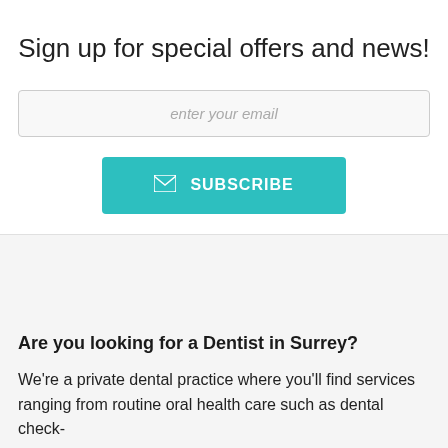Sign up for special offers and news!
enter your email
SUBSCRIBE
Are you looking for a Dentist in Surrey?
We're a private dental practice where you'll find services ranging from routine oral health care such as dental check-